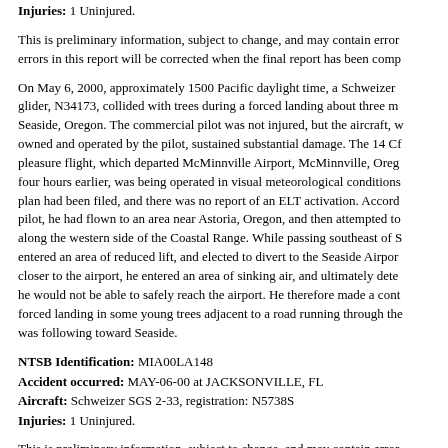Injuries: 1 Uninjured.
This is preliminary information, subject to change, and may contain errors in this report will be corrected when the final report has been completed.
On May 6, 2000, approximately 1500 Pacific daylight time, a Schweizer glider, N34173, collided with trees during a forced landing about three miles from Seaside, Oregon. The commercial pilot was not injured, but the aircraft, which was owned and operated by the pilot, sustained substantial damage. The 14 CFR Part 91 pleasure flight, which departed McMinnville Airport, McMinnville, Oregon, about four hours earlier, was being operated in visual meteorological conditions. No flight plan had been filed, and there was no report of an ELT activation. According to the pilot, he had flown to an area near Astoria, Oregon, and then attempted to soar ridge along the western side of the Coastal Range. While passing southeast of Saddle Mountain, entered an area of reduced lift, and elected to divert to the Seaside Airport. As he got closer to the airport, he entered an area of sinking air, and ultimately determined that he would not be able to safely reach the airport. He therefore made a controlled forced landing in some young trees adjacent to a road running through the area he was following toward Seaside.
NTSB Identification: MIA00LA148
Accident occurred: MAY-06-00 at JACKSONVILLE, FL
Aircraft: Schweizer SGS 2-33, registration: N5738S
Injuries: 1 Uninjured.
This is preliminary information, subject to change, and may contain errors in this report will be corrected when the final report has been completed.
On May 6, 2000, about 1430 eastern daylight time, a Schweizer SGS 2-33 registered to and operated by the North Florida Soaring Society, as a Title 14 CFR Part 91 instructional flight, crashed on landing at Herlong Airport, Jacksonville...